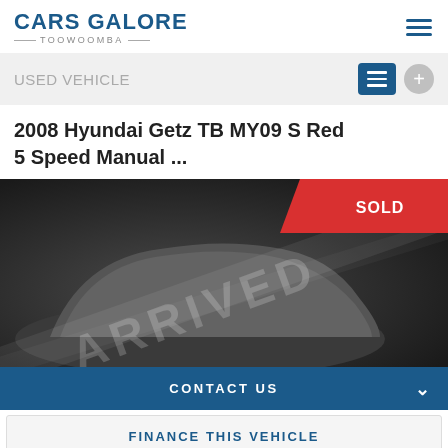Cars Galore Toowoomba
USED VEHICLE
2008 Hyundai Getz TB MY09 S Red 5 Speed Manual ...
[Figure (photo): Car listing image showing a vehicle under a grey cover/shroud with 'ARRIVED' text watermark and a red 'SOLD' badge in the top-right corner]
CONTACT US
FINANCE THIS VEHICLE